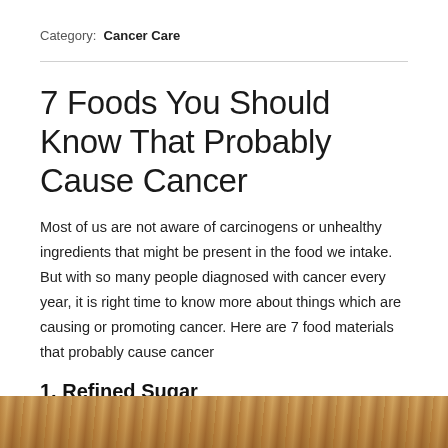Category: Cancer Care
7 Foods You Should Know That Probably Cause Cancer
Most of us are not aware of carcinogens or unhealthy ingredients that might be present in the food we intake. But with so many people diagnosed with cancer every year, it is right time to know more about things which are causing or promoting cancer. Here are 7 food materials that probably cause cancer
1. Refined Sugar
[Figure (photo): Bottom strip showing a brown food item photo, partially visible at the bottom of the page]